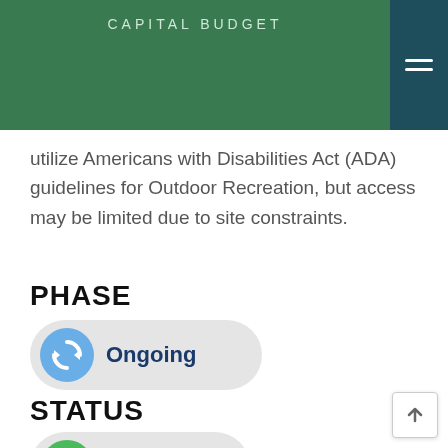CAPITAL BUDGET
utilize Americans with Disabilities Act (ADA) guidelines for Outdoor Recreation, but access may be limited due to site constraints.
PHASE
[Figure (infographic): Ongoing phase badge: blue circular refresh/sync icon on a light grey pill-shaped badge with text 'Ongoing' in dark blue bold.]
STATUS
[Figure (infographic): Active status badge: green circular undo/history icon on a light grey pill-shaped badge with text 'Active' in green.]